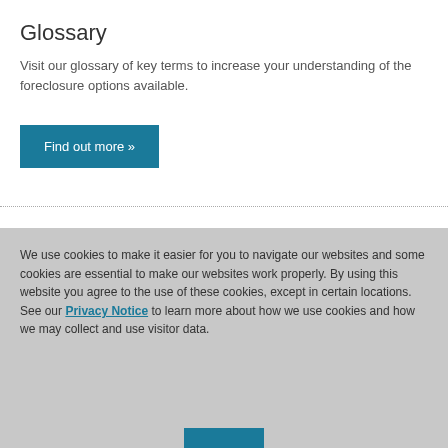Glossary
Visit our glossary of key terms to increase your understanding of the foreclosure options available.
Find out more »
Overview
We use cookies to make it easier for you to navigate our websites and some cookies are essential to make our websites work properly. By using this website you agree to the use of these cookies, except in certain locations. See our Privacy Notice to learn more about how we use cookies and how we may collect and use visitor data.